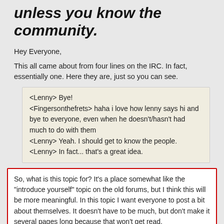unless you know the community.
Hey Everyone,
This all came about from four lines on the IRC. In fact, essentially one. Here they are, just so you can see.
<Lenny> Bye!
<Fingersonthefrets> haha i love how lenny says hi and bye to everyone, even when he doesn't/hasn't had much to do with them
<Lenny> Yeah. I should get to know the people.
<Lenny> In fact... that's a great idea.
So, what is this topic for? It's a place somewhat like the "introduce yourself" topic on the old forums, but I think this will be more meaningful. In this topic I want everyone to post a bit about themselves. It doesn't have to be much, but don't make it several pages long because that won't get read.
The aim of this topic is for members to get to know everyone